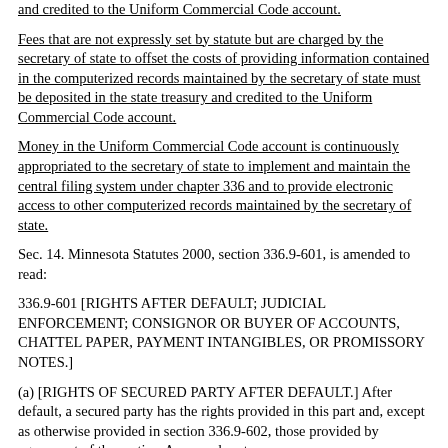and credited to the Uniform Commercial Code account.
Fees that are not expressly set by statute but are charged by the secretary of state to offset the costs of providing information contained in the computerized records maintained by the secretary of state must be deposited in the state treasury and credited to the Uniform Commercial Code account.
Money in the Uniform Commercial Code account is continuously appropriated to the secretary of state to implement and maintain the central filing system under chapter 336 and to provide electronic access to other computerized records maintained by the secretary of state.
Sec. 14. Minnesota Statutes 2000, section 336.9-601, is amended to read:
336.9-601 [RIGHTS AFTER DEFAULT; JUDICIAL ENFORCEMENT; CONSIGNOR OR BUYER OF ACCOUNTS, CHATTEL PAPER, PAYMENT INTANGIBLES, OR PROMISSORY NOTES.]
(a) [RIGHTS OF SECURED PARTY AFTER DEFAULT.] After default, a secured party has the rights provided in this part and, except as otherwise provided in section 336.9-602, those provided by agreement of the parties. A secured party: